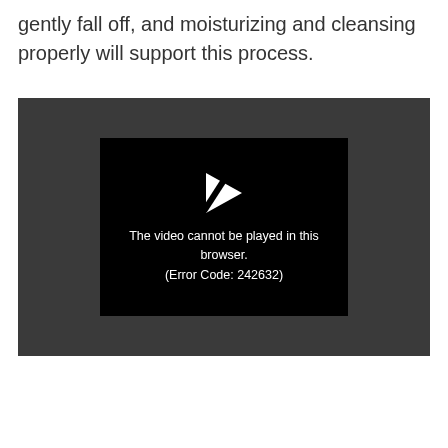gently fall off, and moisturizing and cleansing properly will support this process.
[Figure (screenshot): Video player showing error message: 'The video cannot be played in this browser. (Error Code: 242632)' on a dark background with a broken play button icon.]